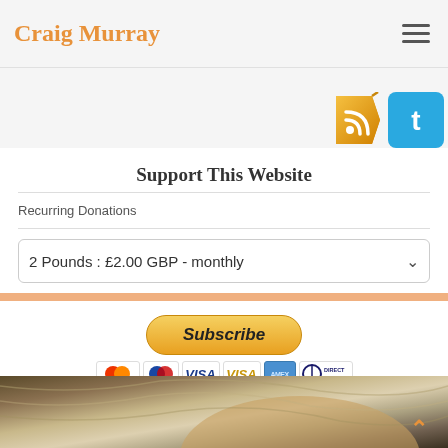Craig Murray
[Figure (logo): RSS feed tag icon and Twitter icon in top right area]
Support This Website
Recurring Donations
2 Pounds : £2.00 GBP - monthly
[Figure (other): Subscribe button with PayPal styling and payment method icons including Mastercard, Maestro, Visa, Visa Electron, American Express, Direct Debit]
[Figure (photo): Close-up photo of a person's head with grey hair, partially visible]